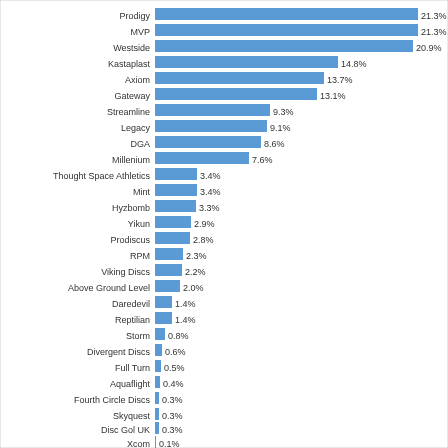[Figure (bar-chart): Disc Golf Brand Market Share]